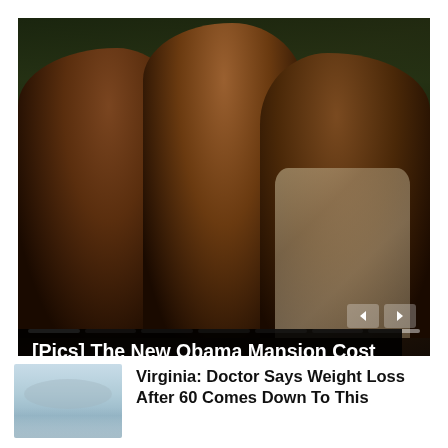[Figure (photo): Family photo of three people (two women and a man) smiling, posed outdoors with trees in background. Slideshow interface with progress bar and navigation arrows visible.]
[Pics] The New Obama Mansion Cost $8.1M, Take A Look Inside
[Figure (photo): Small thumbnail image showing a waterfront or landscape scene, pale blue tones.]
Virginia: Doctor Says Weight Loss After 60 Comes Down To This